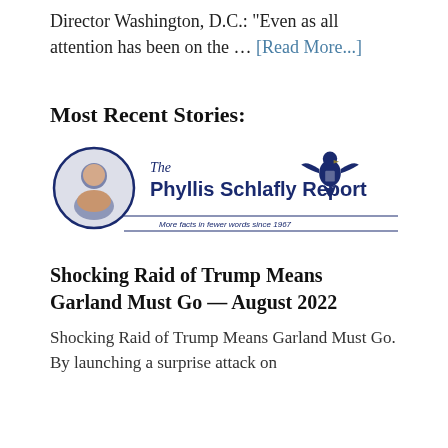Director Washington, D.C.: "Even as all attention has been on the … [Read More...]
Most Recent Stories:
[Figure (logo): The Phyllis Schlafly Report logo — circular portrait photo on left, eagle emblem on right, bold blue text reading 'The Phyllis Schlafly Report', tagline 'More facts in fewer words since 1967' with horizontal rules]
Shocking Raid of Trump Means Garland Must Go — August 2022
Shocking Raid of Trump Means Garland Must Go. By launching a surprise attack on